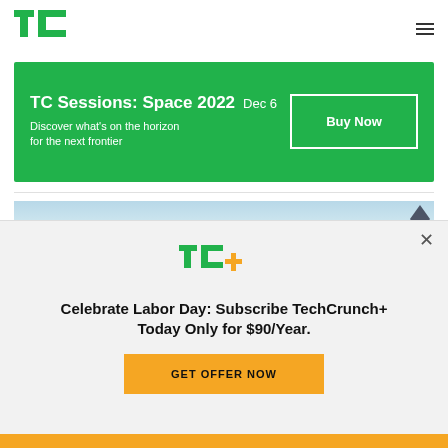TechCrunch logo and navigation
[Figure (infographic): TC Sessions: Space 2022 Dec 6 green promotional banner with Buy Now button]
[Figure (screenshot): Blue sky article image strip with logo mark]
[Figure (logo): TC+ logo in green and yellow]
Celebrate Labor Day: Subscribe TechCrunch+ Today Only for $90/Year.
GET OFFER NOW